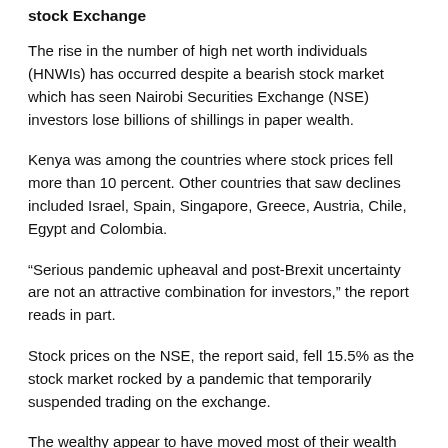stock Exchange
The rise in the number of high net worth individuals (HNWIs) has occurred despite a bearish stock market which has seen Nairobi Securities Exchange (NSE) investors lose billions of shillings in paper wealth.
Kenya was among the countries where stock prices fell more than 10 percent. Other countries that saw declines included Israel, Spain, Singapore, Greece, Austria, Chile, Egypt and Colombia.
“Serious pandemic upheaval and post-Brexit uncertainty are not an attractive combination for investors,” the report reads in part.
Stock prices on the NSE, the report said, fell 15.5% as the stock market rocked by a pandemic that temporarily suspended trading on the exchange.
The wealthy appear to have moved most of their wealth into safe assets such as treasury bills and US dollar-denominated assets where their money has risen even as Covid-19 decimated lives and livelihoods.